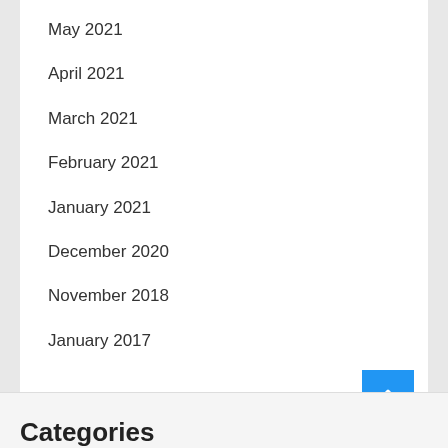May 2021
April 2021
March 2021
February 2021
January 2021
December 2020
November 2018
January 2017
Categories